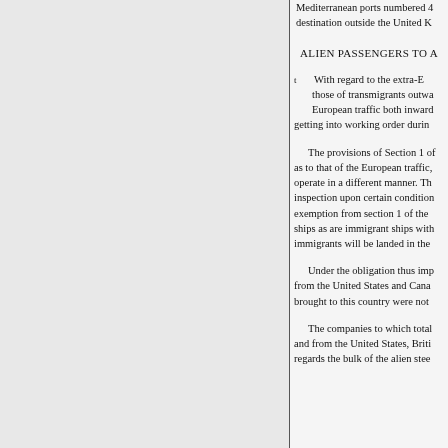Mediterranean ports numbered 4 destination outside the United K
ALIEN PASSENGERS TO A
With regard to the extra-E those of transmigrants outwa European traffic both inward getting into working order durin
The provisions of Section 1 of as to that of the European traffic, operate in a different manner. Th inspection upon certain conditio exemption from section 1 of the ships as are immigrant ships wit immigrants will be landed in the
Under the obligation thus imp from the United States and Cana brought to this country were not
The companies to which total and from the United States, Briti regards the bulk of the alien stee